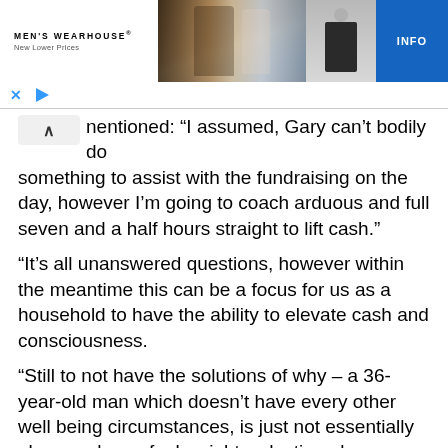[Figure (screenshot): Men's Wearhouse advertisement banner showing a couple in formal wedding attire and a man in a dark suit, with an INFO button and playback controls]
nentioned: “I assumed, Gary can’t bodily do something to assist with the fundraising on the day, however I’m going to coach arduous and full seven and a half hours straight to lift cash.”
“It’s all unanswered questions, however within the meantime this can be a focus for us as a household to have the ability to elevate cash and consciousness.
“Still to not have the solutions of why – a 36-year-old man which doesn’t have every other well being circumstances, is just not essentially obese or has a foul weight-reduction plan.